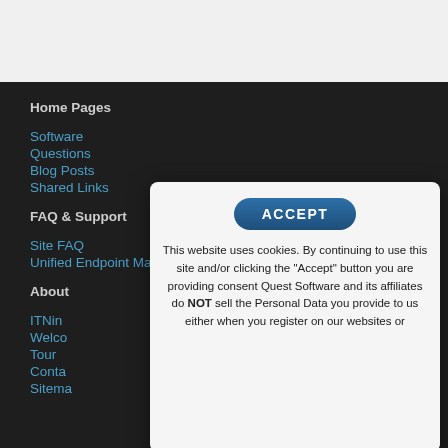[Figure (screenshot): Top gray header area of website]
Home Pages
Software
Questions
Blog Posts
Shared Links
FAQ & Support
Site FAQ
Unified Endpoint Management
About
ITNin...
Welco...
Tour
Conta...
Sitema...
This website uses cookies. By continuing to use this site and/or clicking the "Accept" button you are providing consent Quest Software and its affiliates do NOT sell the Personal Data you provide to us either when you register on our websites or